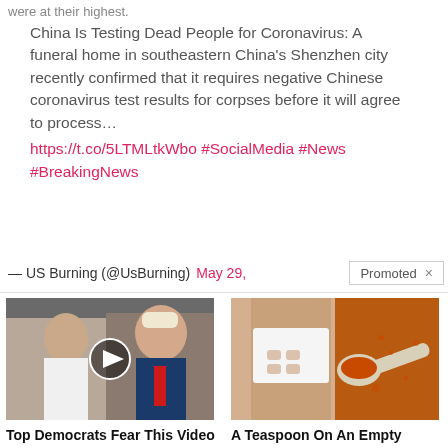were at their highest.
China Is Testing Dead People for Coronavirus: A funeral home in southeastern China's Shenzhen city recently confirmed that it requires negative Chinese coronavirus test results for corpses before it will agree to process… https://t.co/5LTMLtkWbo #SocialMedia #News #BreakingNews
— US Burning (@UsBurning) May 29,
Promoted ×
[Figure (photo): Photo of two people, appearing to be Melania and Donald Trump, with a video play button overlay]
Top Democrats Fear This Video Getting Out — Watch Now Before It's Banned 🔥 253,121
[Figure (photo): Photo of a woman's abdomen and a spoon with orange spice/powder]
A Teaspoon On An Empty Stomach Burns Fat Like Crazy! 🔥 133,771